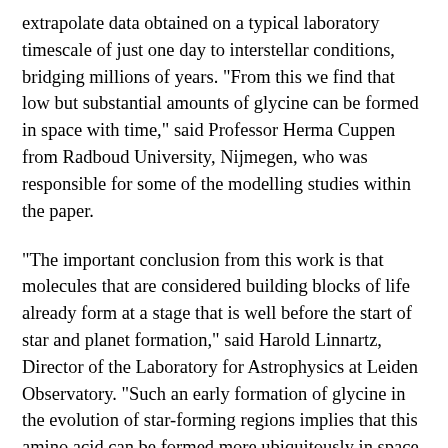extrapolate data obtained on a typical laboratory timescale of just one day to interstellar conditions, bridging millions of years. "From this we find that low but substantial amounts of glycine can be formed in space with time," said Professor Herma Cuppen from Radboud University, Nijmegen, who was responsible for some of the modelling studies within the paper.
"The important conclusion from this work is that molecules that are considered building blocks of life already form at a stage that is well before the start of star and planet formation," said Harold Linnartz, Director of the Laboratory for Astrophysics at Leiden Observatory. "Such an early formation of glycine in the evolution of star-forming regions implies that this amino acid can be formed more ubiquitously in space and is preserved in the bulk of ice before inclusion in comets and planetesimals that make up the material from which ultimately planets are made."